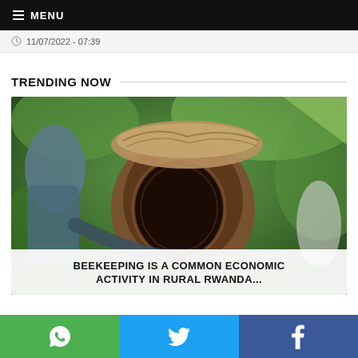≡ MENU
11/07/2022 - 07:39
TRENDING NOW
[Figure (photo): Person examining a traditional log/hollowed-tree beehive in a lush green outdoor setting in rural Rwanda]
BEEKEEPING IS A COMMON ECONOMIC ACTIVITY IN RURAL RWANDA...
WhatsApp | Twitter | Facebook share buttons